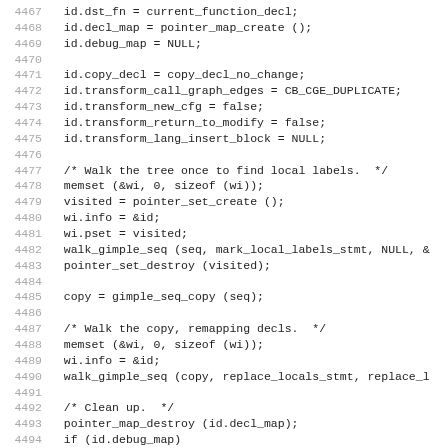Code listing lines 4467-4498 showing gimple sequence copy function implementation in C